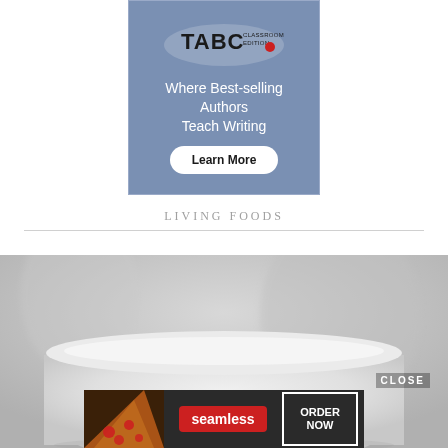[Figure (illustration): TABC Classroom Edition advertisement banner with blue-grey background, splat/burst logo design, tagline 'Where Best-selling Authors Teach Writing' in white, and a 'Learn More' button]
LIVING FOODS
[Figure (photo): Close-up photograph of a white ceramic cup or bowl, blurred background, soft grey tones]
[Figure (illustration): Seamless food delivery advertisement with pizza image on left, red Seamless logo pill in center, and 'ORDER NOW' button with white border on right, dark background]